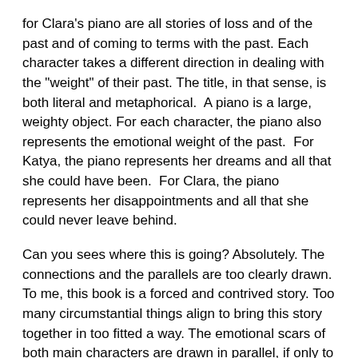for Clara's piano are all stories of loss and of the past and of coming to terms with the past. Each character takes a different direction in dealing with the "weight" of their past. The title, in that sense, is both literal and metaphorical.  A piano is a large, weighty object. For each character, the piano also represents the emotional weight of the past.  For Katya, the piano represents her dreams and all that she could have been.  For Clara, the piano represents her disappointments and all that she could never leave behind.
Can you sees where this is going? Absolutely. The connections and the parallels are too clearly drawn. To me, this book is a forced and contrived story. Too many circumstantial things align to bring this story together in too fitted a way. The emotional scars of both main characters are drawn in parallel, if only to contrast with their eventual decision in how to deal with it. The story loses its sense of emotion and its sense of reality. Mind you, I realize that all fiction is a created and contrived story. I know I am reading fiction, but I want to be taken on a "real" journey. That is the power of fiction. However, in this one, the seams show if you will.